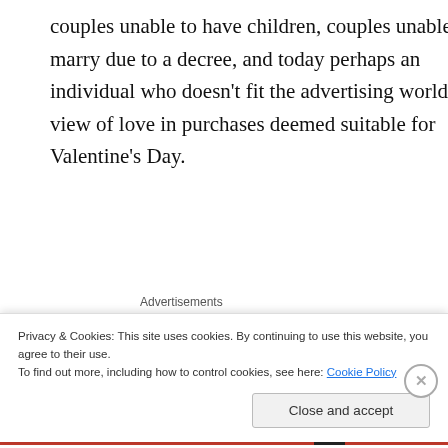couples unable to have children, couples unable to marry due to a decree, and today perhaps an individual who doesn't fit the advertising world's view of love in purchases deemed suitable for Valentine's Day.
[Figure (other): Advertisement banner with gradient blue-to-purple background and white text reading 'Simplified pricing for...']
What? How can I say that? Think about the infertile couple who long for children to love. Or, the couple lonely within their relationship. Or, the single person who might feel...
Privacy & Cookies: This site uses cookies. By continuing to use this website, you agree to their use.
To find out more, including how to control cookies, see here: Cookie Policy
Close and accept